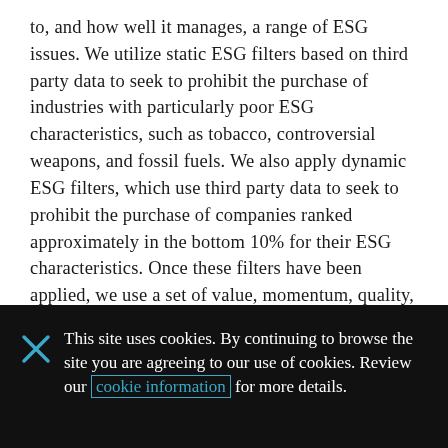to, and how well it manages, a range of ESG issues. We utilize static ESG filters based on third party data to seek to prohibit the purchase of industries with particularly poor ESG characteristics, such as tobacco, controversial weapons, and fossil fuels. We also apply dynamic ESG filters, which use third party data to seek to prohibit the purchase of companies ranked approximately in the bottom 10% for their ESG characteristics. Once these filters have been applied, we use a set of value, momentum, quality, sentiment and other quantitative investment indicators to generate a long-short portfolio based on our global security selection model with weighting [continues below]
This site uses cookies. By continuing to browse the site you are agreeing to our use of cookies. Review our cookie information for more details.